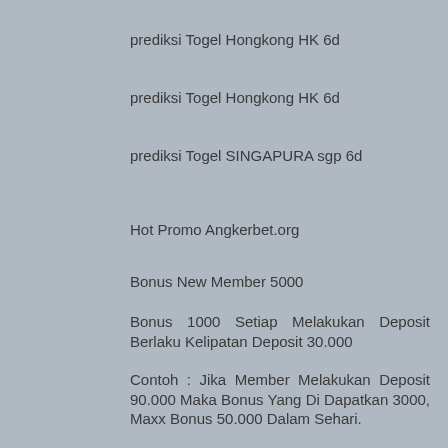prediksi Togel Hongkong HK 6d
prediksi Togel Hongkong HK 6d
prediksi Togel SINGAPURA sgp 6d
Hot Promo Angkerbet.org
Bonus New Member 5000
Bonus 1000 Setiap Melakukan Deposit Berlaku Kelipatan Deposit 30.000
Contoh : Jika Member Melakukan Deposit 90.000 Maka Bonus Yang Di Dapatkan 3000, Maxx Bonus 50.000 Dalam Sehari.